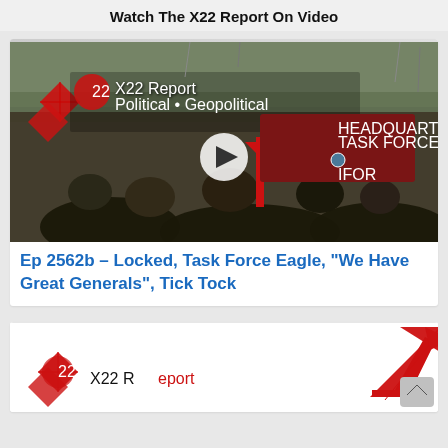Watch The X22 Report On Video
[Figure (screenshot): X22 Report video thumbnail showing soldiers in winter gear with a Headquarters Task Force Eagle IFOR sign, X22 Report logo, Political Geopolitical subtitle, and a play button overlay]
Ep 2562b – Locked, Task Force Eagle, “We Have Great Generals”, Tick Tock
[Figure (screenshot): Partial X22 Report Economic thumbnail with red upward arrow visible at right side]